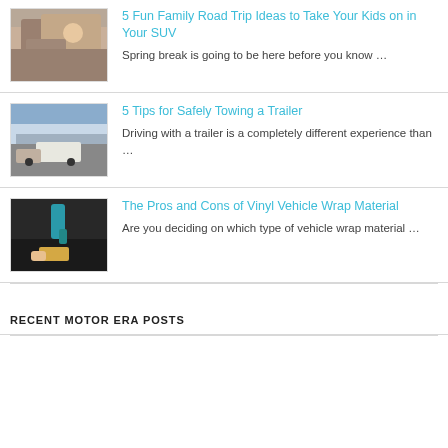[Figure (photo): Family inside an SUV on a road trip, waving and smiling]
5 Fun Family Road Trip Ideas to Take Your Kids on in Your SUV
Spring break is going to be here before you know …
[Figure (photo): Truck towing a large white trailer on a mountain highway]
5 Tips for Safely Towing a Trailer
Driving with a trailer is a completely different experience than …
[Figure (photo): Person applying vinyl wrap material to a vehicle surface with a heat gun]
The Pros and Cons of Vinyl Vehicle Wrap Material
Are you deciding on which type of vehicle wrap material …
RECENT MOTOR ERA POSTS